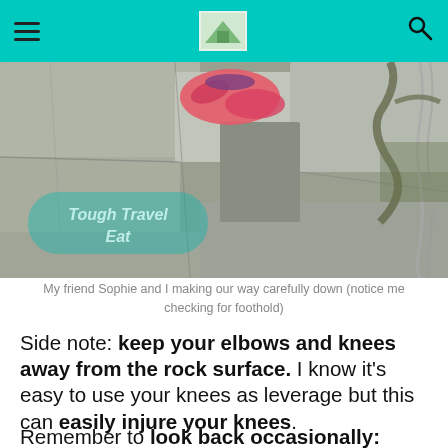Navigation header with hamburger menu, logo, and search icon on teal background
[Figure (photo): Two people making their way carefully down a rocky stone surface. A pink sneaker is visible, and there is a rope/chain for support. A watermark reads 'Tough Travel Eat'.]
My friend Sophie and I making our way carefully down (notice me checking for foothold)
Side note: keep your elbows and knees away from the rock surface. I know it's easy to use your knees as leverage but this can easily injure your knees.
Remember to look back occasionally: